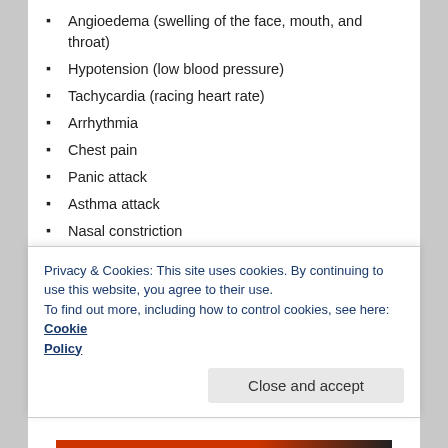Angioedema (swelling of the face, mouth, and throat)
Hypotension (low blood pressure)
Tachycardia (racing heart rate)
Arrhythmia
Chest pain
Panic attack
Asthma attack
Nasal constriction
Flushing of the face and skin
Nasal mucus production
Conjunctivitis (irritated and watery eyes)
Migraines and other types of headaches
Dysmenorrhea (painful menstruation)
Privacy & Cookies: This site uses cookies. By continuing to use this website, you agree to their use.
To find out more, including how to control cookies, see here: Cookie Policy